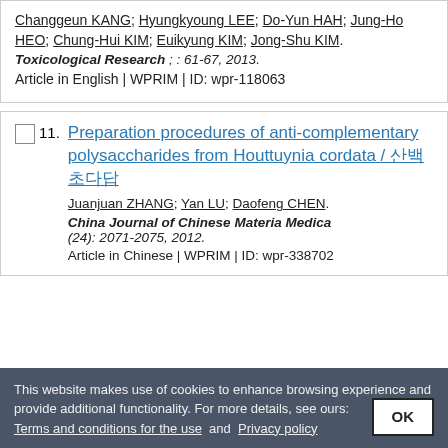Changgeun KANG; Hyungkyoung LEE; Do-Yun HAH; Jung-Ho HEO; Chung-Hui KIM; Euikyung KIM; Jong-Shu KIM. Toxicological Research ; : 61-67, 2013. Article in English | WPRIM | ID: wpr-118063
11. Preparation procedures of anti-complementary polysaccharides from Houttuynia cordata / 삼백초다당. Juanjuan ZHANG; Yan LU; Daofeng CHEN. China Journal of Chinese Materia Medica ; (24): 2071-2075, 2012. Article in Chinese | WPRIM | ID: wpr-338702
This website makes use of cookies to enhance browsing experience and provide additional functionality. For more details, see ours: Terms and conditions for the use and Privacy policy